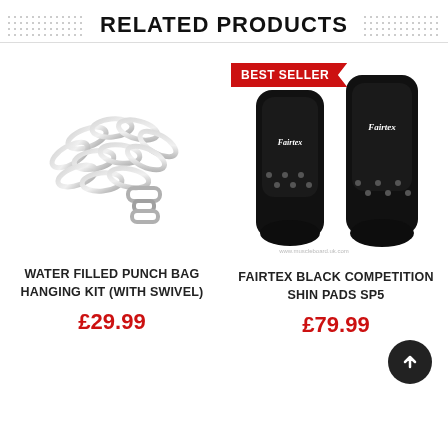RELATED PRODUCTS
[Figure (photo): Silver chain hanging kit with swivel clasp, used to hang water-filled punch bags.]
WATER FILLED PUNCH BAG HANGING KIT (WITH SWIVEL)
£29.99
[Figure (photo): Fairtex black competition shin pads SP5, shown as a pair of black leather shin guards with brand logo, with a red 'BEST SELLER' banner badge.]
FAIRTEX BLACK COMPETITION SHIN PADS SP5
£79.99